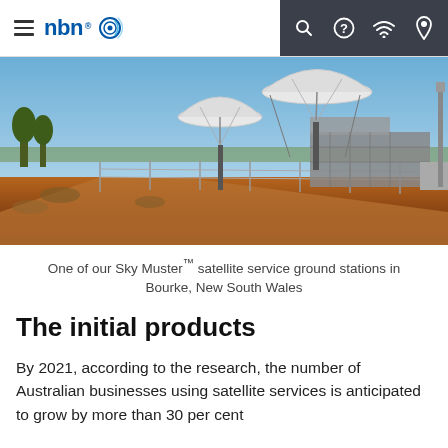nbn [logo]
[Figure (photo): Satellite dish ground station in an arid landscape with red dirt, sparse scrub, blue sky. Two large white parabolic satellite dishes on concrete plinths behind a chain-link fence, with a grey industrial building in the background. Location: Bourke, New South Wales.]
One of our Sky Muster™ satellite service ground stations in Bourke, New South Wales
The initial products
By 2021, according to the research, the number of Australian businesses using satellite services is anticipated to grow by more than 30 per cent